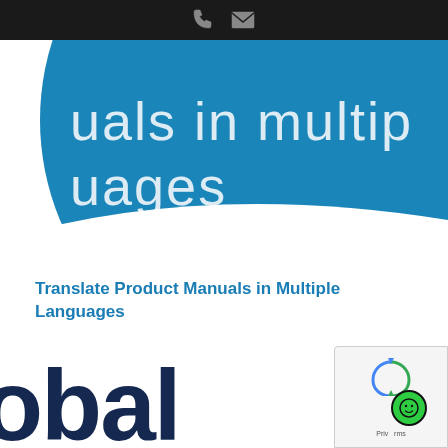[Figure (screenshot): Black top bar with phone and mail icons]
[Figure (illustration): Blue circular graphic with partial white text reading 'uals in multip languages' visible on a blue background]
Translate Product Manuals in Multiple Languages
[Figure (logo): Partial dark navy blue text logo showing 'obal' — part of a company name, likely 'Global']
[Figure (other): reCAPTCHA privacy badge in bottom right corner with circular arrow icon and green circle with smiley, text reading 'Priv...rms']